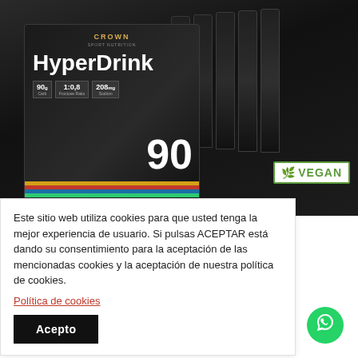[Figure (photo): Product photo of Crown Sport Nutrition HyperDrink 90 box with multiple sachets, showing black packaging with product name and nutritional stats. A VEGAN badge is visible in the bottom right of the image.]
Este sitio web utiliza cookies para que usted tenga la mejor experiencia de usuario. Si pulsas ACEPTAR está dando su consentimiento para la aceptación de las mencionadas cookies y la aceptación de nuestra política de cookies.
Política de cookies
Acepto